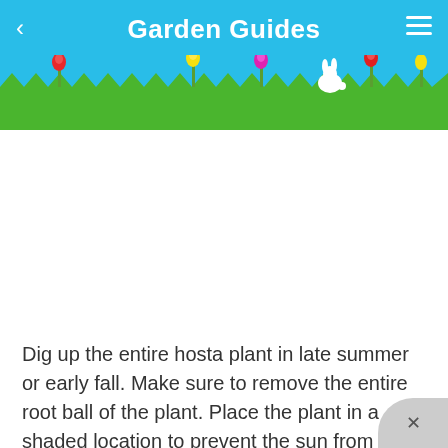Garden Guides
[Figure (illustration): Decorative garden header with grass, tulips, and a bunny silhouette on a sky-blue background]
Dig up the entire hosta plant in late summer or early fall. Make sure to remove the entire root ball of the plant. Place the plant in a shaded location to prevent the sun from drying the roots while making the divisions.